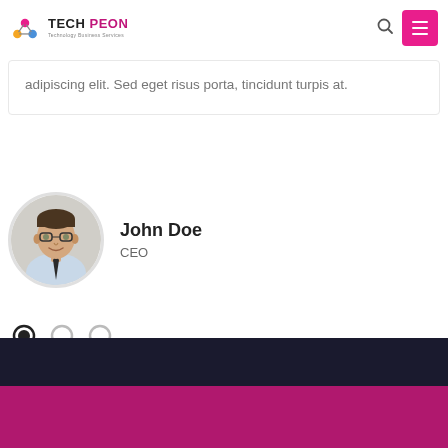TECH PEON
adipiscing elit. Sed eget risus porta, tincidunt turpis at.
[Figure (photo): Circular portrait photo of a man with glasses and a tie, smiling]
John Doe
CEO
[Figure (other): Three circle dot navigation indicators, first is filled/active, two are empty]